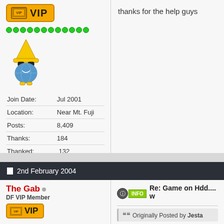[Figure (illustration): VIP badge - gold/orange button with VIP text]
[Figure (illustration): Green reputation dots bar - 12 green circles]
[Figure (illustration): Pixel art avatar - wizard character with yellow hat and blue body]
| Join Date: | Jul 2001 |
| Location: | Near Mt. Fuji |
| Posts: | 8,409 |
| Thanks: | 184 |
| Thanked: | 132 |
| Karma Level: | 788 |
thanks for the help guys
2nd February 2004
The Gab
DF VIP Member
[Figure (illustration): VIP badge - gold/orange button with VIP text (bottom)]
Re: Game on Hdd.... w
Originally Posted by Jesta